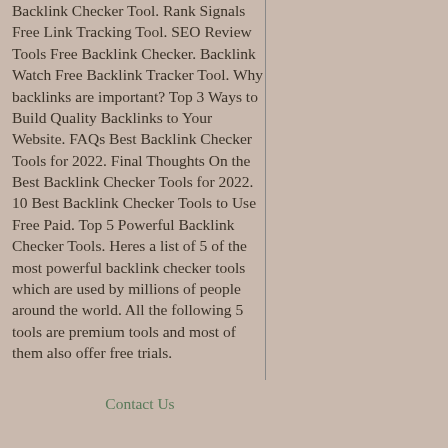Backlink Checker Tool. Rank Signals Free Link Tracking Tool. SEO Review Tools Free Backlink Checker. Backlink Watch Free Backlink Tracker Tool. Why backlinks are important? Top 3 Ways to Build Quality Backlinks to Your Website. FAQs Best Backlink Checker Tools for 2022. Final Thoughts On the Best Backlink Checker Tools for 2022. 10 Best Backlink Checker Tools to Use Free Paid. Top 5 Powerful Backlink Checker Tools. Heres a list of 5 of the most powerful backlink checker tools which are used by millions of people around the world. All the following 5 tools are premium tools and most of them also offer free trials.
Contact Us